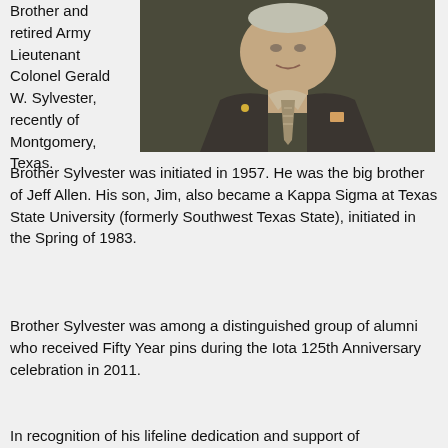Brother and retired Army Lieutenant Colonel Gerald W. Sylvester, recently of Montgomery, Texas.
[Figure (photo): Portrait photo of Gerald W. Sylvester wearing a dark suit with a striped tie, pocket square, and pin on lapel.]
Brother Sylvester was initiated in 1957. He was the big brother of Jeff Allen. His son, Jim, also became a Kappa Sigma at Texas State University (formerly Southwest Texas State), initiated in the Spring of 1983.
Brother Sylvester was among a distinguished group of alumni who received Fifty Year pins during the Iota 125th Anniversary celebration in 2011.
In recognition of his lifeline dedication and support of